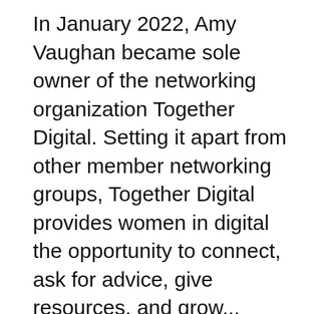In January 2022, Amy Vaughan became sole owner of the networking organization Together Digital. Setting it apart from other member networking groups, Together Digital provides women in digital the opportunity to connect, ask for advice, give resources, and grow...